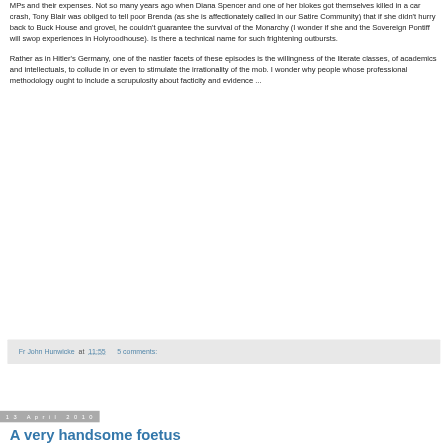MPs and their expenses. Not so many years ago when Diana Spencer and one of her blokes got themselves killed in a car crash, Tony Blair was obliged to tell poor Brenda (as she is affectionately called in our Satire Community) that if she didn't hurry back to Buck House and grovel, he couldn't guarantee the survival of the Monarchy (I wonder if she and the Sovereign Pontiff will swop experiences in Holyroodhouse). Is there a technical name for such frightening outbursts.
Rather as in Hitler's Germany, one of the nastier facets of these episodes is the willingness of the literate classes, of academics and intellectuals, to collude in or even to stimulate the irrationality of the mob. I wonder why people whose professional methodology ought to include a scrupulosity about facticity and evidence ...
Fr John Hunwicke at 11:55    5 comments:
13 April 2010
A very handsome foetus